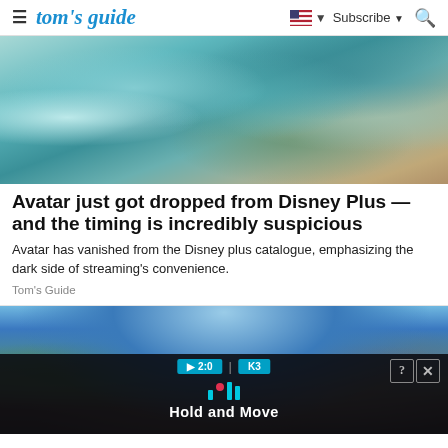tom's guide — Subscribe
[Figure (photo): Close-up image of Avatar Na'vi characters, teal/blue skin with braided hair and ornamental accessories]
Avatar just got dropped from Disney Plus — and the timing is incredibly suspicious
Avatar has vanished from the Disney plus catalogue, emphasizing the dark side of streaming's convenience.
Tom's Guide
[Figure (photo): Outdoor scene showing a military vehicle overturned on grass, with a blue sky and leafless trees in the background. An advertisement overlay shows 'Hold and Move' text with icons.]